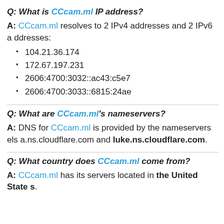Q: What is CCcam.ml IP address?
A: CCcam.ml resolves to 2 IPv4 addresses and 2 IPv6 addresses:
104.21.36.174
172.67.197.231
2606:4700:3032::ac43:c5e7
2606:4700:3033::6815:24ae
Q: What are CCcam.ml's nameservers?
A: DNS for CCcam.ml is provided by the nameservers elsa.ns.cloudflare.com and luke.ns.cloudflare.com.
Q: What country does CCcam.ml come from?
A: CCcam.ml has its servers located in the United States.